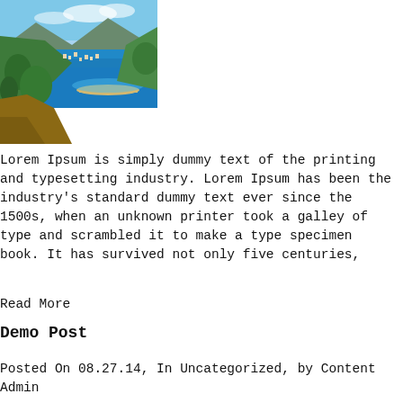[Figure (photo): Aerial view of a coastal town with blue sea, green hillside with trees, sandy beach, and mountains in the background under a partly cloudy sky.]
Lorem Ipsum is simply dummy text of the printing and typesetting industry. Lorem Ipsum has been the industry's standard dummy text ever since the 1500s, when an unknown printer took a galley of type and scrambled it to make a type specimen book. It has survived not only five centuries,
Read More
Demo Post
Posted On 08.27.14, In Uncategorized, by Content Admin